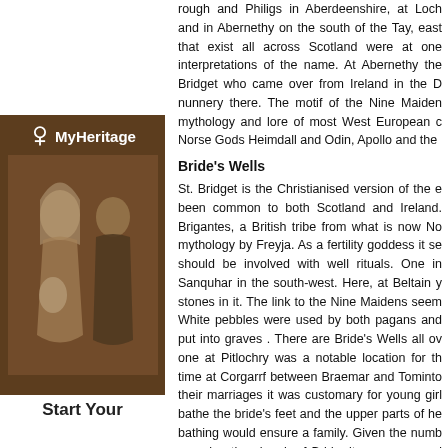rough and Philigs in Aberdeenshire, at Loch and in Abernethy on the south of the Tay, east that exist all across Scotland were at one interpretations of the name. At Abernethy the Bridget who came over from Ireland in the D nunnery there. The motif of the Nine Maiden mythology and lore of most West European c Norse Gods Heimdall and Odin, Apollo and the
[Figure (photo): MyHeritage advertisement with sepia wedding photo of bride and groom, MyHeritage logo at top]
Bride's Wells
St. Bridget is the Christianised version of the e been common to both Scotland and Ireland. Brigantes, a British tribe from what is now No mythology by Freyja. As a fertility goddess it se should be involved with well rituals. One in Sanquhar in the south-west. Here, at Beltain y stones in it. The link to the Nine Maidens seem White pebbles were used by both pagans and put into graves . There are Bride's Wells all ov one at Pitlochry was a notable location for th time at Corgarrf between Braemar and Tominto their marriages it was customary for young girl bathe the bride's feet and the upper parts of he bathing would ensure a family. Given the numb meaning the church of Bride, it seems a good Wells. As it had been Christian policy since the no doubt many other wells with saint's names a
Clootie Wells
Start Your